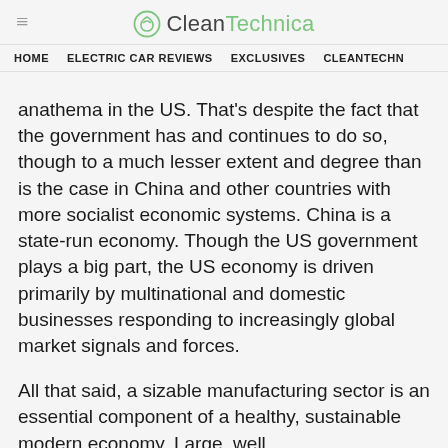CleanTechnica
HOME   ELECTRIC CAR REVIEWS   EXCLUSIVES   CLEANTECHN
anathema in the US. That's despite the fact that the government has and continues to do so, though to a much lesser extent and degree than is the case in China and other countries with more socialist economic systems. China is a state-run economy. Though the US government plays a big part, the US economy is driven primarily by multinational and domestic businesses responding to increasingly global market signals and forces.
All that said, a sizable manufacturing sector is an essential component of a healthy, sustainable modern economy. Large, well